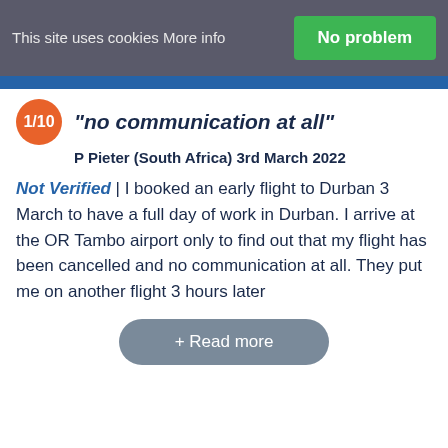This site uses cookies More info
"no communication at all"
P Pieter (South Africa) 3rd March 2022
Not Verified | I booked an early flight to Durban 3 March to have a full day of work in Durban. I arrive at the OR Tambo airport only to find out that my flight has been cancelled and no communication at all. They put me on another flight 3 hours later
+ Read more